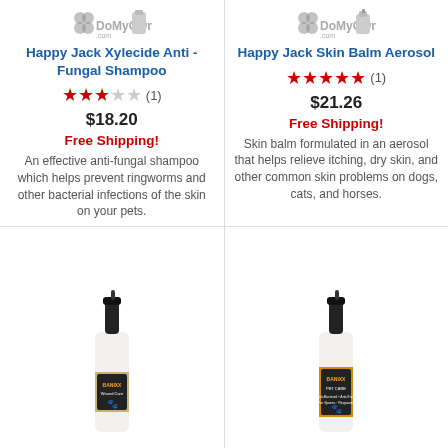[Figure (photo): DoMyOwn.com logo top left]
Happy Jack Xylecide Anti - Fungal Shampoo
★★★☆☆ (1)
$18.20
Free Shipping!
An effective anti-fungal shampoo which helps prevent ringworms and other bacterial infections of the skin on your pets.
[Figure (photo): DoMyOwn.com logo top right]
Happy Jack Skin Balm Aerosol
★★★★★ (1)
$21.26
Free Shipping!
Skin balm formulated in an aerosol that helps relieve itching, dry skin, and other common skin problems on dogs, cats, and horses.
[Figure (photo): Banixx Wound Care spray bottle]
[Figure (photo): Banixx Pet Care spray bottle]